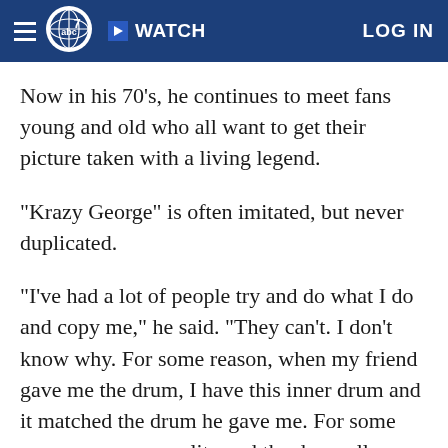ABC7 navigation bar with hamburger menu, ABC7 logo, WATCH button, and LOG IN link
Now in his 70's, he continues to meet fans young and old who all want to get their picture taken with a living legend.
"Krazy George" is often imitated, but never duplicated.
"I've had a lot of people try and do what I do and copy me," he said. "They can't. I don't know why. For some reason, when my friend gave me the drum, I have this inner drum and it matched the drum he gave me. For some reason, my personality and the drum all came together and I know instinctively when to do the cheers to get the maximum effect and get the fans to